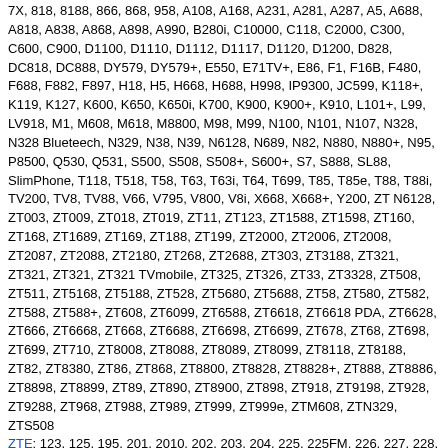7X, 818, 8188, 866, 868, 958, A108, A168, A231, A281, A287, A5, A688, A818, A838, A868, A898, A990, B280i, C10000, C118, C2000, C300, C600, C900, D1100, D1110, D1112, D1117, D1120, D1200, D828, DC818, DC888, DY579, DY579+, E550, E71TV+, E86, F1, F16B, F480, F688, F882, F897, H18, H5, H668, H688, H998, IP9300, JC599, K118+, K119, K127, K600, K650, K650i, K700, K900, K900+, K910, L101+, L99, LV918, M1, M608, M618, M8800, M98, M99, N100, N101, N107, N328, N328 Blueteech, N329, N38, N39, N6128, N689, N82, N880, N880+, N95, P8500, Q530, Q531, S500, S508, S508+, S600+, S7, S888, SL88, SlimPhone, T118, T518, T58, T63, T63i, T64, T699, T85, T85e, T88, T88i, TV200, TV8, TV88, V66, V795, V800, V8i, X668, X668+, Y200, ZT N6128, ZT003, ZT009, ZT018, ZT019, ZT11, ZT123, ZT1588, ZT1598, ZT160, ZT168, ZT1689, ZT169, ZT188, ZT199, ZT2000, ZT2006, ZT2008, ZT2087, ZT2088, ZT2180, ZT268, ZT2688, ZT303, ZT3188, ZT321, ZT321, ZT321, ZT321 TVmobile, ZT325, ZT326, ZT33, ZT3328, ZT508, ZT511, ZT5168, ZT5188, ZT528, ZT5680, ZT5688, ZT58, ZT580, ZT582, ZT588, ZT588+, ZT608, ZT6099, ZT6588, ZT6618, ZT6618 PDA, ZT6628, ZT666, ZT6668, ZT668, ZT6688, ZT6698, ZT6699, ZT678, ZT68, ZT698, ZT699, ZT710, ZT8008, ZT8088, ZT8089, ZT8099, ZT8118, ZT8188, ZT82, ZT8380, ZT86, ZT868, ZT8800, ZT8828, ZT8828+, ZT888, ZT8886, ZT8898, ZT8899, ZT89, ZT890, ZT8900, ZT898, ZT918, ZT9198, ZT928, ZT9288, ZT968, ZT988, ZT989, ZT999, ZT999e, ZTM608, ZTN329, ZTS508
ZTE: 123, 125, 195, 201, 2010, 202, 203, 204, 225, 225FM, 226, 227, 228, 231, 731, 7310, 7610, 811, A12, A12+, A136, A136G, A139, A15, A16, A201, A201+, A205, A205+, A206, A208, A21 Plus, A211, A212, A213, A215, A215+, A261, A261+, A261FM, A292, A3 2020, A301, A316i, A35, A35FM, A36, A36+, A36FM, A37, A37, A39, A5, A51, A520, A61, A611, A611+, A62, A62+, A66, A661, A68, A80, A831, A832, A833, A861, A931, A932, A933+, Amigo, Android, Aspire A3 2019, Aspire A5, Axon 20 4G, Blade, Blade A110, Blade A2 Plus, Blade A3, Blade A3 2019, Blade A3 Lite, Blade A31, Blade A31 Lite, Blade A460, Blade A5 Pro, Blade A51, Blade A520, Blade A520C, Blade A602, Blade A7 2019RU, Blade G2, Blade L110, Blade L111, Blade